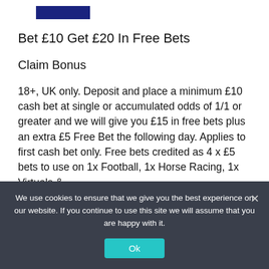[Figure (logo): Dark blue rectangular logo/button at top left]
Bet £10 Get £20 In Free Bets
Claim Bonus
18+, UK only. Deposit and place a minimum £10 cash bet at single or accumulated odds of 1/1 or greater and we will give you £15 in free bets plus an extra £5 Free Bet the following day. Applies to first cash bet only. Free bets credited as 4 x £5 bets to use on 1x Football, 1x Horse Racing, 1x Virtuals &
We use cookies to ensure that we give you the best experience on our website. If you continue to use this site we will assume that you are happy with it.
Ok